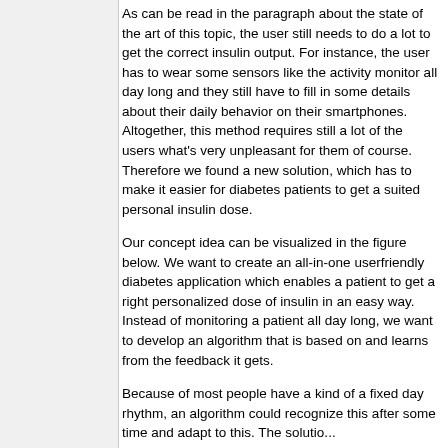As can be read in the paragraph about the state of the art of this topic, the user still needs to do a lot to get the correct insulin output. For instance, the user has to wear some sensors like the activity monitor all day long and they still have to fill in some details about their daily behavior on their smartphones. Altogether, this method requires still a lot of the users what's very unpleasant for them of course. Therefore we found a new solution, which has to make it easier for diabetes patients to get a suited personal insulin dose.
Our concept idea can be visualized in the figure below. We want to create an all-in-one userfriendly diabetes application which enables a patient to get a right personalized dose of insulin in an easy way. Instead of monitoring a patient all day long, we want to develop an algorithm that is based on and learns from the feedback it gets.
Because of most people have a kind of a fixed day rhythm, an algorithm could recognize this after some time and adapt to this. The solution...